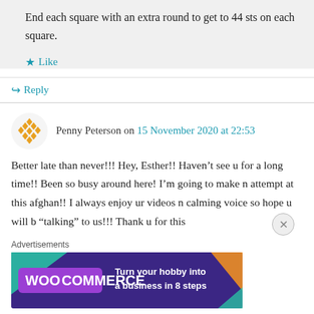End each square with an extra round to get to 44 sts on each square.
Like
Reply
Penny Peterson on 15 November 2020 at 22:53
Better late than never!!! Hey, Esther!! Haven ’t see u for a long time!! Been so busy around here! I’m going to make n attempt at this afghan!! I always enjoy ur videos n calming voice so hope u will b “talking” to us!!! Thank u for this
Advertisements
[Figure (illustration): WooCommerce advertisement banner: purple background with teal and orange triangle shapes, WooCommerce logo, text 'Turn your hobby into a business in 8 steps']